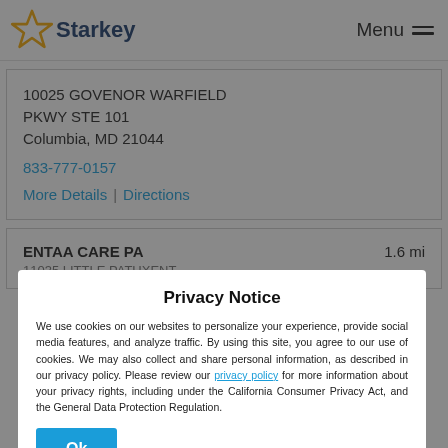Starkey | Menu
10025 GOVENOR WARFIELD PKWY STE 101
Columbia, MD 21044
833-777-0157
More Details | Directions
ENTAA CARE PA
1.6 mi
Privacy Notice
We use cookies on our websites to personalize your experience, provide social media features, and analyze traffic. By using this site, you agree to our use of cookies. We may also collect and share personal information, as described in our privacy policy. Please review our privacy policy for more information about your privacy rights, including under the California Consumer Privacy Act, and the General Data Protection Regulation.
Ok